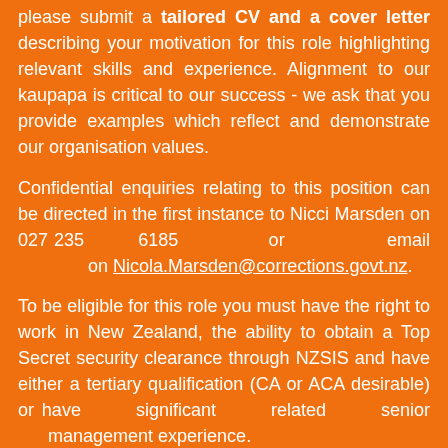please submit a tailored CV and a cover letter describing your motivation for this role highlighting relevant skills and experience. Alignment to our kaupapa is critical to our success - we ask that you provide examples which reflect and demonstrate our organisation values.
Confidential enquiries relating to this position can be directed in the first instance to Nicci Marsden on 027 235 6185 or email on Nicola.Marsden@corrections.govt.nz.
To be eligible for this role you must have the right to work in New Zealand, the ability to obtain a Top Secret security clearance through NZSIS and have either a tertiary qualification (CA or ACA desirable) or have significant related senior management experience.